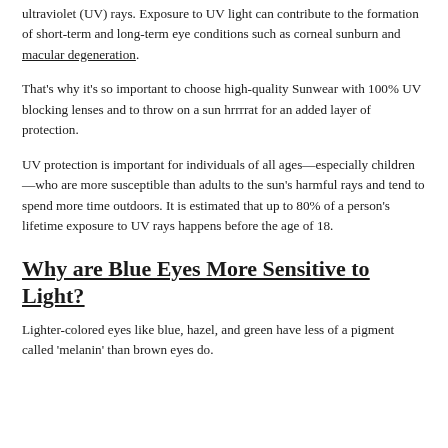ultraviolet (UV) rays. Exposure to UV light can contribute to the formation of short-term and long-term eye conditions such as corneal sunburn and macular degeneration.
That's why it's so important to choose high-quality Sunwear with 100% UV blocking lenses and to throw on a sun hrrrrat for an added layer of protection.
UV protection is important for individuals of all ages—especially children—who are more susceptible than adults to the sun's harmful rays and tend to spend more time outdoors. It is estimated that up to 80% of a person's lifetime exposure to UV rays happens before the age of 18.
Why are Blue Eyes More Sensitive to Light?
Lighter-colored eyes like blue, hazel, and green have less of a pigment called 'melanin' than brown eyes do.